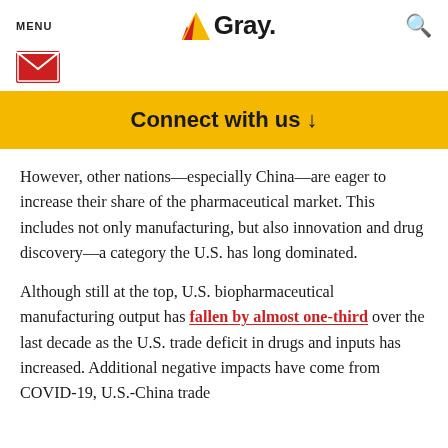MENU | Gray. (logo) | search icon
[Figure (other): Red email/envelope button icon]
Connect with us ↓
However, other nations—especially China—are eager to increase their share of the pharmaceutical market. This includes not only manufacturing, but also innovation and drug discovery—a category the U.S. has long dominated.
Although still at the top, U.S. biopharmaceutical manufacturing output has fallen by almost one-third over the last decade as the U.S. trade deficit in drugs and inputs has increased. Additional negative impacts have come from COVID-19, U.S.-China trade